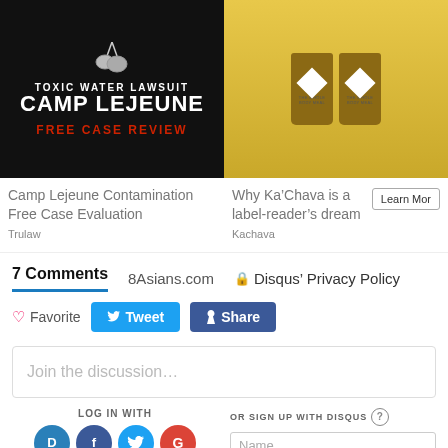[Figure (photo): Camp Lejeune Toxic Water Lawsuit ad with dog tags on black background and red text FREE CASE REVIEW]
[Figure (photo): Ka'Chava protein shake bags ad with shirtless older man holding two bags, yellow background]
Camp Lejeune Contamination Free Case Evaluation
Trulaw
Why Ka’Chava is a label-reader’s dream
Kachava
Learn More
7 Comments
8Asians.com
Disqus’ Privacy Policy
Favorite
Tweet
Share
Join the discussion…
LOG IN WITH
OR SIGN UP WITH DISQUS
Name